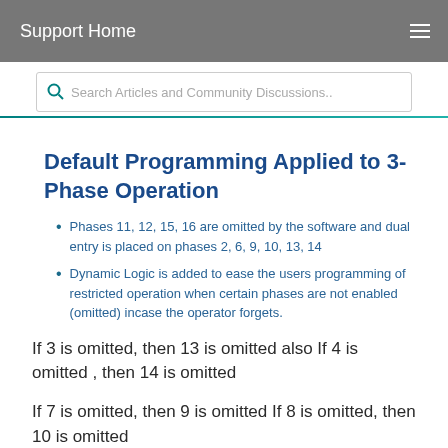Support Home
Search Articles and Community Discussions..
Default Programming Applied to 3-Phase Operation
Phases 11, 12, 15, 16 are omitted by the software and dual entry is placed on phases 2, 6, 9, 10, 13, 14
Dynamic Logic is added to ease the users programming of restricted operation when certain phases are not enabled (omitted) incase the operator forgets.
If 3 is omitted, then 13 is omitted also If 4 is omitted , then 14 is omitted
If 7 is omitted, then 9 is omitted If 8 is omitted, then 10 is omitted